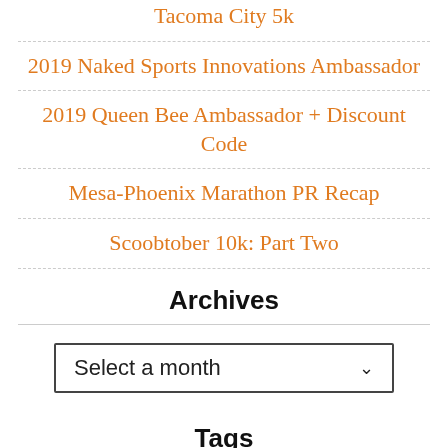Tacoma City 5k
2019 Naked Sports Innovations Ambassador
2019 Queen Bee Ambassador + Discount Code
Mesa-Phoenix Marathon PR Recap
Scoobtober 10k: Part Two
Archives
Select a month
Tags
...